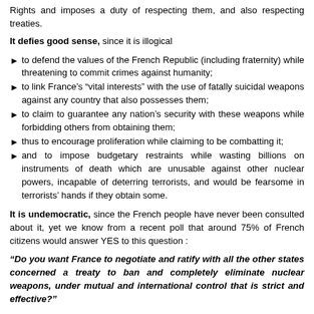Rights and imposes a duty of respecting them, and also respecting treaties.
It defies good sense, since it is illogical
to defend the values of the French Republic (including fraternity) while threatening to commit crimes against humanity;
to link France's "vital interests" with the use of fatally suicidal weapons against any country that also possesses them;
to claim to guarantee any nation's security with these weapons while forbidding others from obtaining them;
thus to encourage proliferation while claiming to be combatting it;
and to impose budgetary restraints while wasting billions on instruments of death which are unusable against other nuclear powers, incapable of deterring terrorists, and would be fearsome in terrorists' hands if they obtain some.
It is undemocratic, since the French people have never been consulted about it, yet we know from a recent poll that around 75% of French citizens would answer YES to this question :
"Do you want France to negotiate and ratify with all the other states concerned a treaty to ban and completely eliminate nuclear weapons, under mutual and international control that is strict and effective?"
Similarly, three quarters of citizens want to be consulted by referendum on this question and are ready to support a bill originating in parliament to organise the referendum.
Thus the French people can open the path to a world without nuclear weapons. We call on all French parliamentarians to give them the opportunity to do so, and we call on all French voters to support this